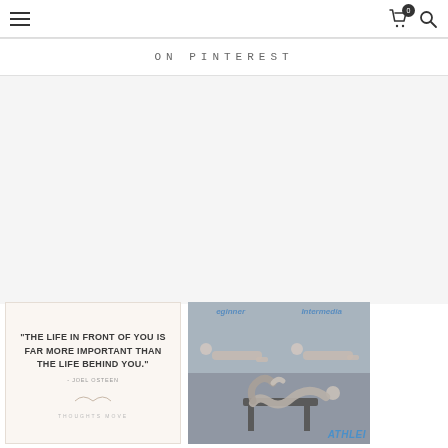Navigation bar with hamburger menu, cart icon (0), and search icon
ON PINTEREST
[Figure (illustration): Quote card: "THE LIFE IN FRONT OF YOU IS FAR MORE IMPORTANT THAN THE LIFE BEHIND YOU." - Joel Osteen, Thoughts Move brand]
[Figure (photo): Fitness exercise photos showing Beginner and Intermediate levels with person lying down, and person doing a bridge/back-bend exercise on a stool, with Athleta brand watermark]